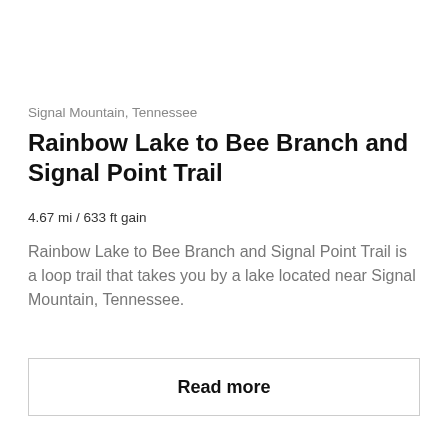Signal Mountain, Tennessee
Rainbow Lake to Bee Branch and Signal Point Trail
4.67 mi / 633 ft gain
Rainbow Lake to Bee Branch and Signal Point Trail is a loop trail that takes you by a lake located near Signal Mountain, Tennessee.
Read more